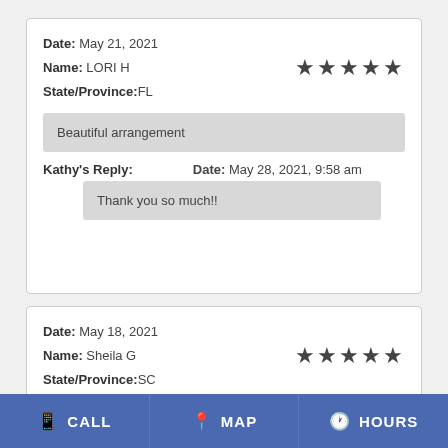Date: May 21, 2021
Name: LORI H
State/Province:FL
★★★★★
Beautiful arrangement
Kathy's Reply:  Date: May 28, 2021, 9:58 am
Thank you so much!!
Date: May 18, 2021
Name: Sheila G
State/Province:SC
★★★★★
CALL  MAP  HOURS